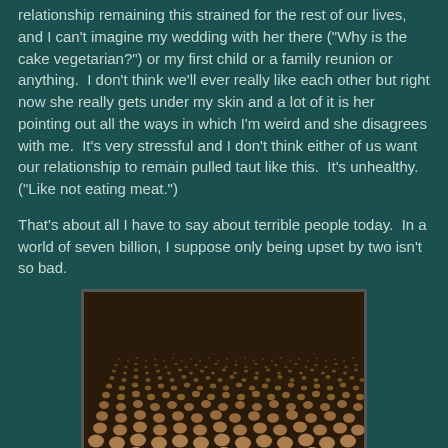relationship remaining this strained for the rest of our lives, and I can't imagine my wedding with her there ("Why is the cake vegetarian?") or my first child or a family reunion or anything.  I don't think we'll ever really like each other but right now she really gets under my skin and a lot of it is her pointing out all the ways in which I'm weird and she disagrees with me.  It's very stressful and I don't think either of us want our relationship to remain pulled taut like this.  It's unhealthy.  ("Like not eating meat.")
That's about all I have to say about terrible people today.  In a world of seven billion, I suppose only being upset by two isn't so bad.
[Figure (photo): Aerial or perspective view of a massive crowd of people, showing thousands of human heads/figures packed densely together, rendered in 3D or heavily processed, with warm tan/brown tones against a dark background. The crowd extends to the horizon in converging lines.]